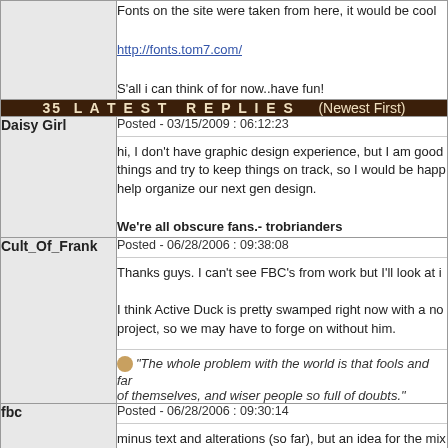Fonts on the site were taken from here, it would be cool
http://fonts.tom7.com/
S'all i can think of for now..have fun!
35 LATEST REPLIES (Newest First)
Daisy Girl
Posted - 03/15/2009 : 06:12:23
hi, I don't have graphic design experience, but I am good things and try to keep things on track, so I would be happ help organize our next gen design.

We're all obscure fans.- trobrianders
Cult_Of_Frank
Posted - 06/28/2006 : 09:38:08
Thanks guys. I can't see FBC's from work but I'll look at i

I think Active Duck is pretty swamped right now with a no project, so we may have to forge on without him.

"The whole problem with the world is that fools and far of themselves, and wiser people so full of doubts."
fbc
Posted - 06/28/2006 : 09:30:14
minus text and alterations (so far), but an idea for the mix and blows us all out o' the water: